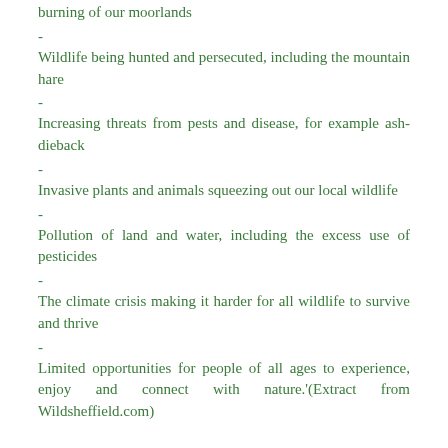burning of our moorlands
Wildlife being hunted and persecuted, including the mountain hare
Increasing threats from pests and disease, for example ash-dieback
Invasive plants and animals squeezing out our local wildlife
Pollution of land and water, including the excess use of pesticides
The climate crisis making it harder for all wildlife to survive and thrive
Limited opportunities for people of all ages to experience, enjoy and connect with nature.'(Extract from Wildsheffield.com)